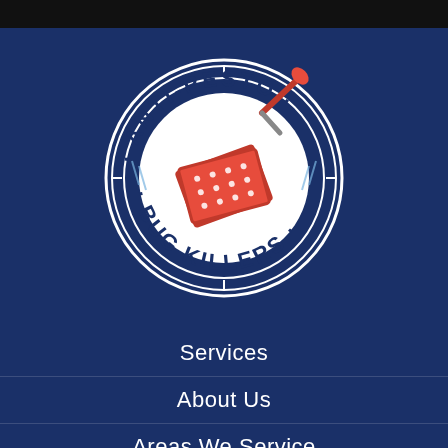[Figure (logo): Anti-Pesto Bug Killers circular logo. Dark navy blue circle with white text 'ANTI-PESTO' arching across the top and 'BUG KILLERS' arching across the bottom. Center shows a red glue/sticky trap board. A red-handled tool (spatula or scraper) extends from the upper right of the circle. Decorative double-ring border with tick marks.]
Services
About Us
Areas We Service